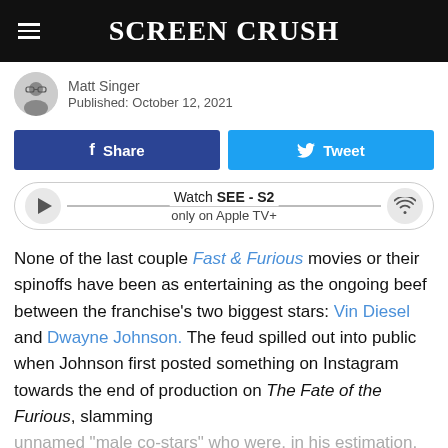SCREEN CRUSH
Matt Singer
Published: October 12, 2021
[Figure (other): Facebook Share button and Twitter Tweet button side by side]
[Figure (other): Watch SEE - S2 only on Apple TV+ widget with play button and wifi icon]
None of the last couple Fast & Furious movies or their spinoffs have been as entertaining as the ongoing beef between the franchise's two biggest stars: Vin Diesel and Dwayne Johnson. The feud spilled out into public when Johnson first posted something on Instagram towards the end of production on The Fate of the Furious, slamming unnamed "male co-stars" who were, in his estimation, "candy asses."